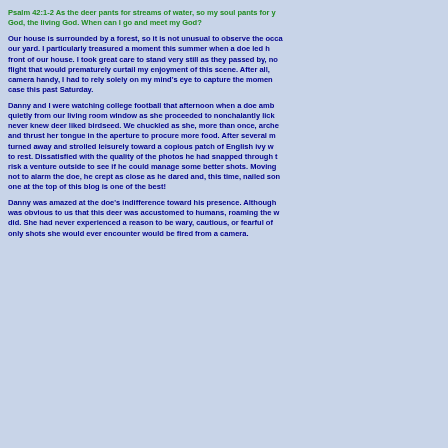Psalm 42:1-2 As the deer pants for streams of water, so my soul pants for you, my God, the living God. When can I go and meet my God?
Our house is surrounded by a forest, so it is not unusual to observe the occasional deer in our yard. I particularly treasured a moment this summer when a doe led her fawns across the front of our house. I took great care to stand very still as they passed by, not wanting to cause a flight that would prematurely curtail my enjoyment of this scene. After all, not having a camera handy, I had to rely solely on my mind's eye to capture the moment. That was not the case this past Saturday.
Danny and I were watching college football that afternoon when a doe ambled into our yard. We watched quietly from our living room window as she proceeded to nonchalantly lick our bird feeder. Who knew deer liked birdseed. We chuckled as she, more than once, arched her tongue around the feeder and thrust her tongue in the aperture to procure more food. After several minutes of this, she turned away and strolled leisurely toward a copious patch of English ivy where she finally stopped to rest. Dissatisfied with the quality of the photos he had snapped through the window, Danny decided to risk a venture outside to see if he could manage some better shots. Moving ever so slowly so as not to alarm the doe, he crept as close as he dared and, this time, nailed some great shots. The one at the top of this blog is one of the best!
Danny was amazed at the doe's indifference toward his presence. Although not entirely surprising, it was obvious to us that this deer was accustomed to humans, roaming the woods as freely as she did. She had never experienced a reason to be wary, cautious, or fearful of humans because the only shots she would ever encounter would be fired from a camera.